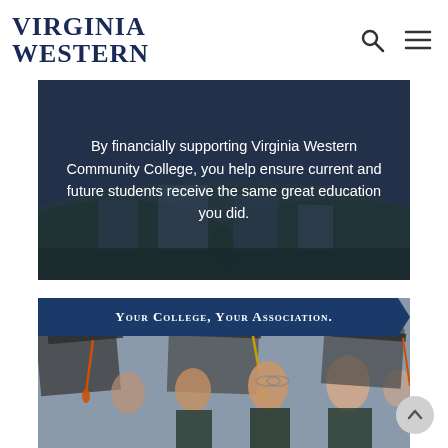[Figure (logo): Virginia Western Community College logo — bold serif uppercase text reading VIRGINIA WESTERN in dark navy blue]
[Figure (photo): Aerial photo of Virginia Western Community College campus with overlay text about financial support]
By financially supporting Virginia Western Community College, you help ensure current and future students receive the same great education you did.
[Figure (photo): Photo of graduating students in caps and gowns with a blue ribbon banner reading YOUR COLLEGE, YOUR ASSOCIATION.]